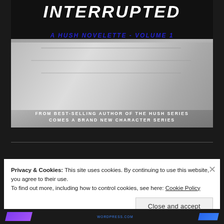[Figure (illustration): Book cover for 'Interrupted - A Hush Novelette Volume 1'. Black and white image of intertwined hands against a dark background. Title 'INTERRUPTED' in bold white italic text at top. Subtitle 'A HUSH NOVELETTE - VOLUME 1' in blue text. Bottom text reads 'FROM BEST-SELLING AUTHOR OF THE HUSH SERIES COMES A BRAND NEW CHARACTER SERIES' in white uppercase.]
Privacy & Cookies: This site uses cookies. By continuing to use this website, you agree to their use.
To find out more, including how to control cookies, see here: Cookie Policy
Close and accept